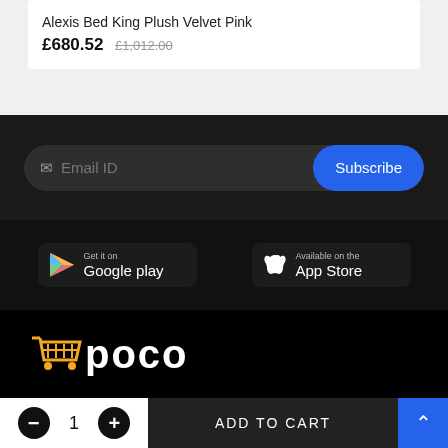Alexis Bed King Plush Velvet Pink
£680.52 £1,012.00
[Figure (screenshot): Email subscription bar with 'Email ID' placeholder and blue 'Subscribe' button]
[Figure (screenshot): Google Play and App Store download badges on dark background]
[Figure (logo): Poco shopping logo with cart icon and bold white POCO text on black background]
- 1 + ADD TO CART